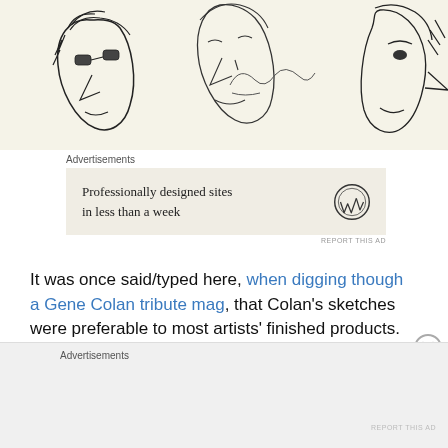[Figure (illustration): Black and white sketch/illustration showing comic-style faces with pointy noses on a cream/yellowish background]
Advertisements
Professionally designed sites in less than a week
It was once said/typed here, when digging though a Gene Colan tribute mag, that Colan's sketches were preferable to most artists' finished products. The same applies in this instance. BOW DOWN BEFORE HIS GLORIOUS POINTY NOSES.
All the Infantino stuff is great, but the side features are
Advertisements